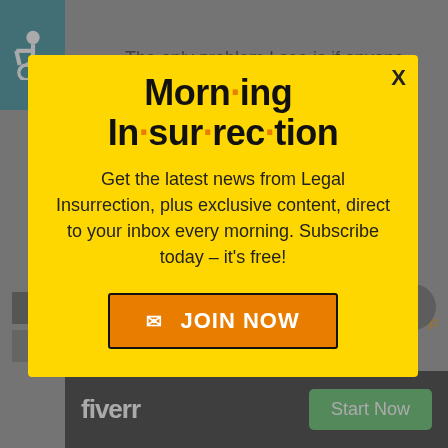[Figure (screenshot): Background webpage with accessibility icon (wheelchair symbol on teal background) in top-left corner, partial article text, and various UI elements including a fiverr advertisement at the bottom.]
The only problem I see is if anyone asked Rachel if she wanted to be a part of the political debate beyond
Morn·ing In·sur·rec·tion
Get the latest news from Legal Insurrection, plus exclusive content, direct to your inbox every morning. Subscribe today – it's free!
JOIN NOW
[Figure (logo): Fiverr logo in white text on black background with a green 'Start Now' button]